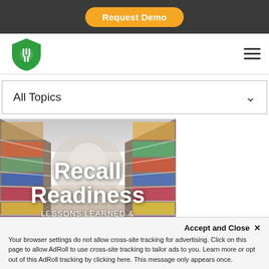Request Demo
[Figure (logo): Green shield logo with fork/spoon icon]
All Topics
[Figure (photo): Grocery store aisle with shelves of products on both sides, perspective view. Overlaid text: 'Recall Readiness' in large white bold font, and 'LESSONS LEARNED & A LOOK AHEAD' below in smaller white text.]
Accept and Close ✕
Your browser settings do not allow cross-site tracking for advertising. Click on this page to allow AdRoll to use cross-site tracking to tailor ads to you. Learn more or opt out of this AdRoll tracking by clicking here. This message only appears once.